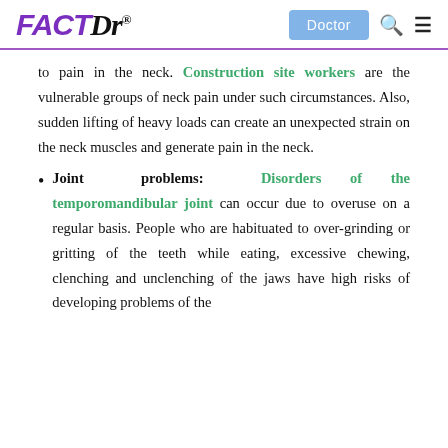FACTDr® Doctor
to pain in the neck. Construction site workers are the vulnerable groups of neck pain under such circumstances. Also, sudden lifting of heavy loads can create an unexpected strain on the neck muscles and generate pain in the neck.
Joint problems: Disorders of the temporomandibular joint can occur due to overuse on a regular basis. People who are habituated to over-grinding or gritting of the teeth while eating, excessive chewing, clenching and unclenching of the jaws have high risks of developing problems of the